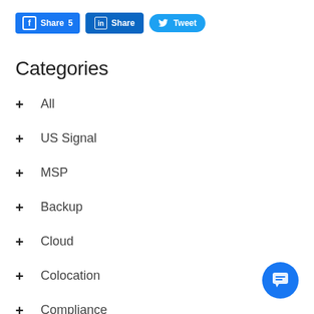[Figure (screenshot): Social share buttons: Facebook Share 5, LinkedIn Share, Twitter Tweet]
Categories
+ All
+ US Signal
+ MSP
+ Backup
+ Cloud
+ Colocation
+ Compliance
+ Customer Service
[Figure (other): Blue circular chat/support button icon in bottom right corner]